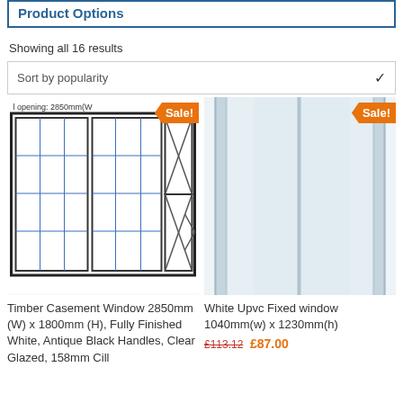Product Options
Showing all 16 results
Sort by popularity
[Figure (illustration): Technical drawing of a timber casement window 2850mm(W) with sale badge. Shows exterior view with divided light panes and casement detail. Scale: 1/4" = 1'. Caption: om Exterior. Scale: 1/4" = 1']
[Figure (photo): White UPVC fixed window 1040mm(w) x 1230mm(h) product photo with sale badge]
Timber Casement Window 2850mm (W) x 1800mm (H), Fully Finished White, Antique Black Handles, Clear Glazed, 158mm Cill
White Upvc Fixed window 1040mm(w) x 1230mm(h)
£113.12 £87.00